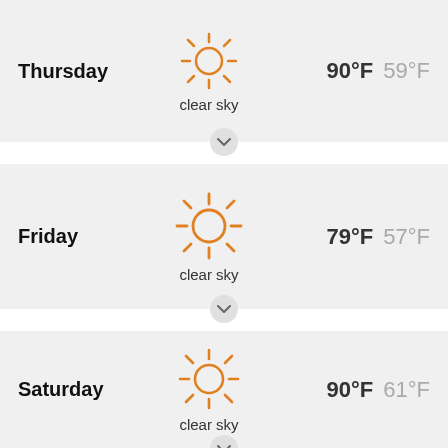Thursday  90°F  59°F  clear sky
Friday  79°F  57°F  clear sky
Saturday  90°F  61°F  clear sky